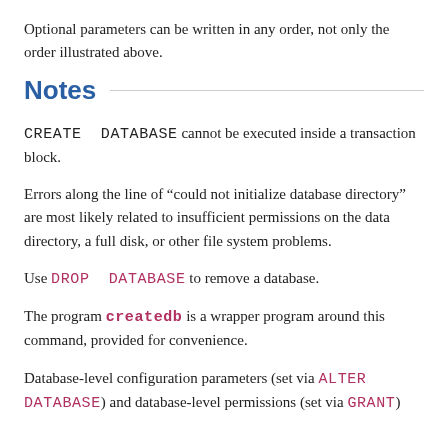Optional parameters can be written in any order, not only the order illustrated above.
Notes
CREATE DATABASE cannot be executed inside a transaction block.
Errors along the line of “could not initialize database directory” are most likely related to insufficient permissions on the data directory, a full disk, or other file system problems.
Use DROP DATABASE to remove a database.
The program createdb is a wrapper program around this command, provided for convenience.
Database-level configuration parameters (set via ALTER DATABASE) and database-level permissions (set via GRANT)